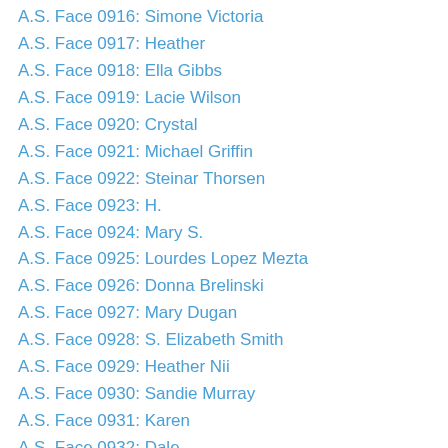A.S. Face 0916: Simone Victoria
A.S. Face 0917: Heather
A.S. Face 0918: Ella Gibbs
A.S. Face 0919: Lacie Wilson
A.S. Face 0920: Crystal
A.S. Face 0921: Michael Griffin
A.S. Face 0922: Steinar Thorsen
A.S. Face 0923: H.
A.S. Face 0924: Mary S.
A.S. Face 0925: Lourdes Lopez Mezta
A.S. Face 0926: Donna Brelinski
A.S. Face 0927: Mary Dugan
A.S. Face 0928: S. Elizabeth Smith
A.S. Face 0929: Heather Nii
A.S. Face 0930: Sandie Murray
A.S. Face 0931: Karen
A.S. Face 0932: Dale
A.S. Face 0933: Angie Santos
A.S. Face 0934: Elizabeth
A.S. Face 0935: John L. Nichols